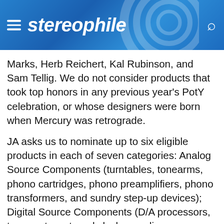stereophile
Marks, Herb Reichert, Kal Rubinson, and Sam Tellig. We do not consider products that took top honors in any previous year's PotY celebration, or whose designers were born when Mercury was retrograde.
JA asks us to nominate up to six eligible products in each of seven categories: Analog Source Components (turntables, tonearms, phono cartridges, phono preamplifiers, phono transformers, and sundry step-up devices); Digital Source Components (D/A processors, transports, external clocks, media servers, and CD players); Amplification Components (preamplifiers, power amplifiers, and integrated amplifiers); Loudspeakers (including